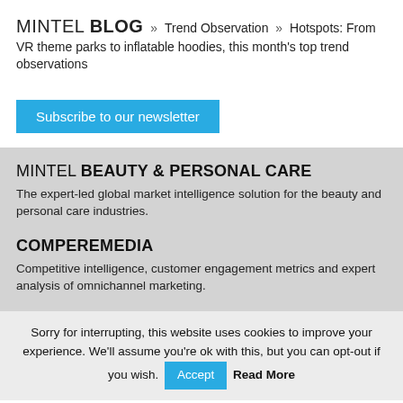MINTEL BLOG » Trend Observation » Hotspots: From VR theme parks to inflatable hoodies, this month's top trend observations
Subscribe to our newsletter
MINTEL BEAUTY & PERSONAL CARE
The expert-led global market intelligence solution for the beauty and personal care industries.
COMPEREMEDIA
Competitive intelligence, customer engagement metrics and expert analysis of omnichannel marketing.
Sorry for interrupting, this website uses cookies to improve your experience. We'll assume you're ok with this, but you can opt-out if you wish. Accept Read More